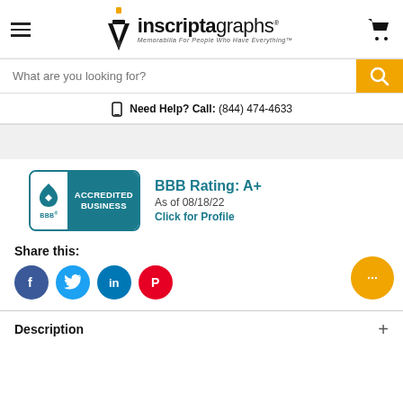[Figure (logo): Inscriptagraphs logo with pen nib icon and tagline 'Memorabilia For People Who Have Everything']
[Figure (screenshot): Search bar with placeholder text 'What are you looking for?' and orange search button]
Need Help? Call: (844) 474-4633
[Figure (logo): BBB Accredited Business badge]
BBB Rating: A+
As of 08/18/22
Click for Profile
Share this:
[Figure (infographic): Social media share icons: Facebook, Twitter, LinkedIn, Pinterest]
Description